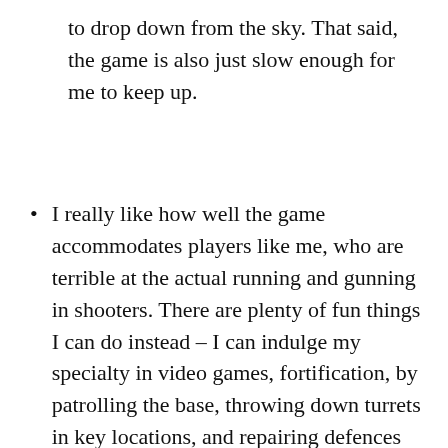to drop down from the sky. That said, the game is also just slow enough for me to keep up.
I really like how well the game accommodates players like me, who are terrible at the actual running and gunning in shooters. There are plenty of fun things I can do instead – I can indulge my specialty in video games, fortification, by patrolling the base, throwing down turrets in key locations, and repairing defences when necessary. I can equip myself to take out enemy turrets or outposts (which are easier